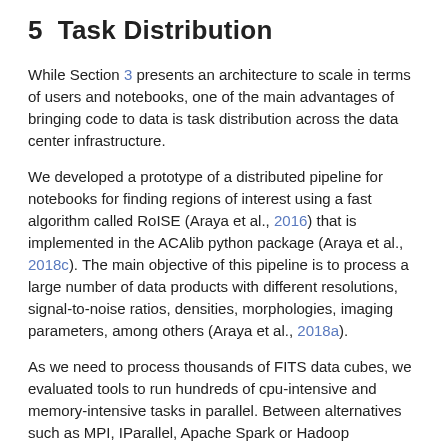5  Task Distribution
While Section 3 presents an architecture to scale in terms of users and notebooks, one of the main advantages of bringing code to data is task distribution across the data center infrastructure.
We developed a prototype of a distributed pipeline for notebooks for finding regions of interest using a fast algorithm called RoISE (Araya et al., 2016) that is implemented in the ACAlib python package (Araya et al., 2018c). The main objective of this pipeline is to process a large number of data products with different resolutions, signal-to-noise ratios, densities, morphologies, imaging parameters, among others (Araya et al., 2018a).
As we need to process thousands of FITS data cubes, we evaluated tools to run hundreds of cpu-intensive and memory-intensive tasks in parallel. Between alternatives such as MPI, IParallel, Apache Spark or Hadoop MapReduce, we selected a Python library called Dask (Rocklin, 2015) mainly because required only a few modification to the original code.